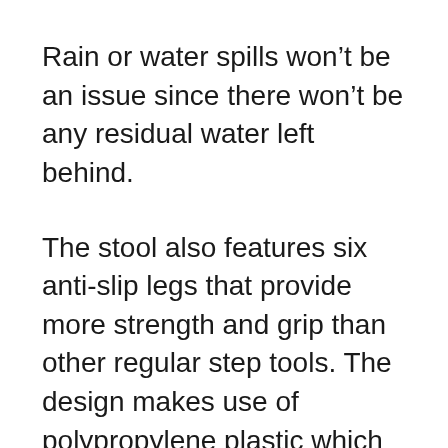Rain or water spills won't be an issue since there won't be any residual water left behind.
The stool also features six anti-slip legs that provide more strength and grip than other regular step tools. The design makes use of polypropylene plastic which makes it both lightweight and durable at the same time.
What's even better is that the plastic is